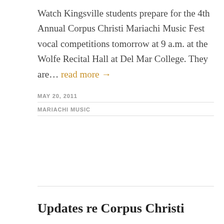Watch Kingsville students prepare for the 4th Annual Corpus Christi Mariachi Music Fest vocal competitions tomorrow at 9 a.m. at the Wolfe Recital Hall at Del Mar College. They are… read more →
MAY 20, 2011
MARIACHI MUSIC
Updates re Corpus Christi